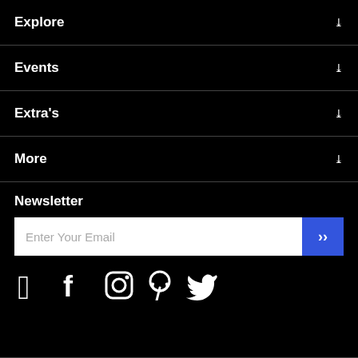Explore
Events
Extra's
More
Newsletter
Enter Your Email
[Figure (illustration): Social media icons: Facebook, Instagram, Pinterest, Twitter]